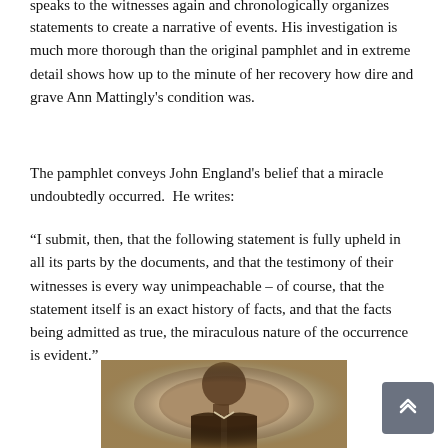speaks to the witnesses again and chronologically organizes their statements to create a narrative of events. His investigation is much more thorough than the original pamphlet and in extreme detail shows how up to the minute of her recovery how dire and grave Ann Mattingly's condition was.
The pamphlet conveys John England's belief that a miracle undoubtedly occurred.  He writes:
“I submit, then, that the following statement is fully upheld in all its parts by the documents, and that the testimony of their witnesses is every way unimpeachable – of course, that the statement itself is an exact history of facts, and that the facts being admitted as true, the miraculous nature of the occurrence is evident.”
[Figure (photo): Sepia-toned historical portrait photograph of an elderly man in profile view, facing right, wearing dark clerical clothing. The image has a vignette oval effect typical of 19th century photography.]